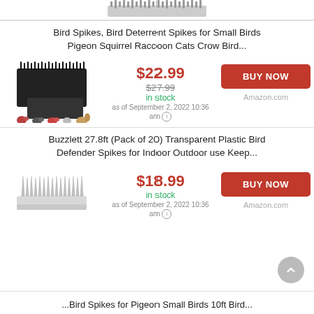[Figure (photo): Partial top view of a bird spike strip product image, cropped at the top of the page]
Bird Spikes, Bird Deterrent Spikes for Small Birds Pigeon Squirrel Raccoon Cats Crow Bird...
[Figure (photo): Black plastic bird spike strips stacked, with small animal icons (birds, squirrel) below]
$22.99
$27.99 in stock as of September 2, 2022 10:36 am
BUY NOW Amazon.com
Buzzlett 27.8ft (Pack of 20) Transparent Plastic Bird Defender Spikes for Indoor Outdoor use Keep...
[Figure (photo): White/transparent plastic bird defender spike strip]
$18.99
in stock as of September 2, 2022 10:36 am
BUY NOW Amazon.com
...Bird Spikes for Pigeon Small Birds 10ft Bird...